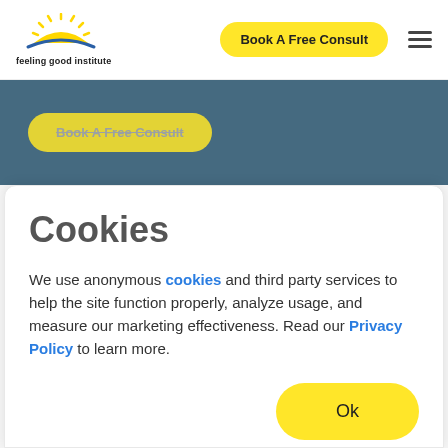[Figure (logo): Feeling Good Institute logo with sun rays and blue arc, text 'feeling good institute' below]
Book A Free Consult
[Figure (screenshot): Blue banner section with a yellow 'Book A Free Consult' button (partially visible/greyed out)]
Cookies
We use anonymous cookies and third party services to help the site function properly, analyze usage, and measure our marketing effectiveness. Read our Privacy Policy to learn more.
Ok